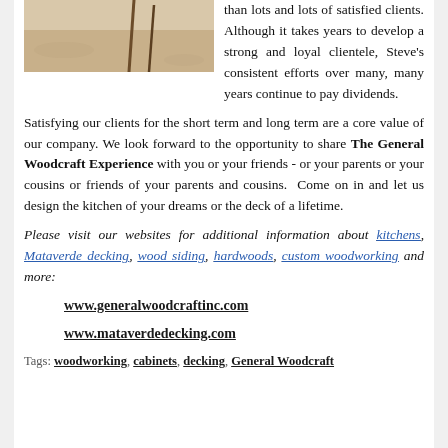[Figure (photo): Close-up photo of sand or wood surface with tools, partial image at top of page]
than lots and lots of satisfied clients. Although it takes years to develop a strong and loyal clientele, Steve's consistent efforts over many, many years continue to pay dividends.
Satisfying our clients for the short term and long term are a core value of our company. We look forward to the opportunity to share The General Woodcraft Experience with you or your friends - or your parents or your cousins or friends of your parents and cousins. Come on in and let us design the kitchen of your dreams or the deck of a lifetime.
Please visit our websites for additional information about kitchens, Mataverde decking, wood siding, hardwoods, custom woodworking and more:
www.generalwoodcraftinc.com
www.mataverdedecking.com
Tags: woodworking, cabinets, decking, General Woodcraft